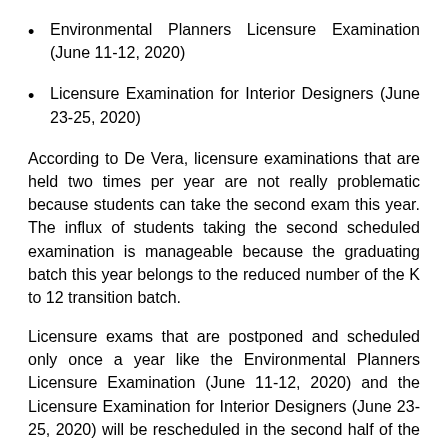Environmental Planners Licensure Examination (June 11-12, 2020)
Licensure Examination for Interior Designers (June 23-25, 2020)
According to De Vera, licensure examinations that are held two times per year are not really problematic because students can take the second exam this year. The influx of students taking the second scheduled examination is manageable because the graduating batch this year belongs to the reduced number of the K to 12 transition batch.
Licensure exams that are postponed and scheduled only once a year like the Environmental Planners Licensure Examination (June 11-12, 2020) and the Licensure Examination for Interior Designers (June 23-25, 2020) will be rescheduled in the second half of the year.